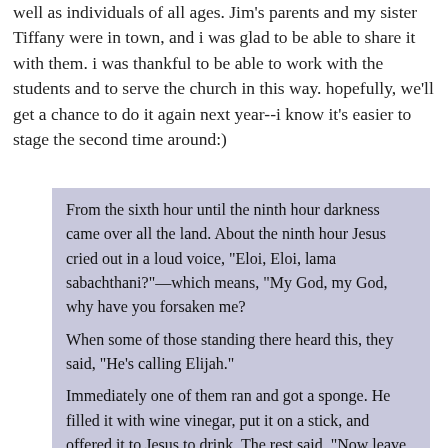well as individuals of all ages. Jim's parents and my sister Tiffany were in town, and i was glad to be able to share it with them. i was thankful to be able to work with the students and to serve the church in this way. hopefully, we'll get a chance to do it again next year--i know it's easier to stage the second time around:)
From the sixth hour until the ninth hour darkness came over all the land. About the ninth hour Jesus cried out in a loud voice, "Eloi, Eloi, lama sabachthani?"—which means, "My God, my God, why have you forsaken me?
When some of those standing there heard this, they said, "He's calling Elijah."
Immediately one of them ran and got a sponge. He filled it with wine vinegar, put it on a stick, and offered it to Jesus to drink. The rest said, "Now leave him alone. Let's see if Elijah comes to save him."
And when Jesus had cried out again in a loud voice, he gave up his spirit.

At that moment the curtain of the temple was torn in two from top to bottom. The earth shook and the rocks split. The tombs broke